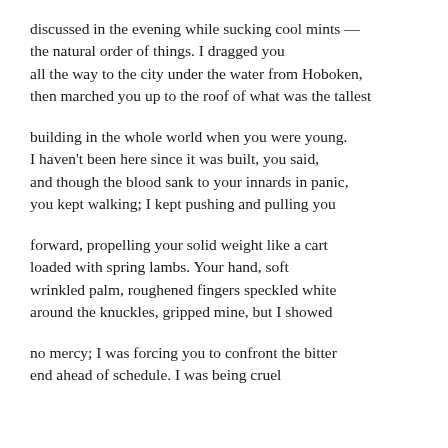discussed in the evening while sucking cool mints —
the natural order of things. I dragged you
all the way to the city under the water from Hoboken,
then marched you up to the roof of what was the tallest

building in the whole world when you were young.
I haven't been here since it was built, you said,
and though the blood sank to your innards in panic,
you kept walking; I kept pushing and pulling you

forward, propelling your solid weight like a cart
loaded with spring lambs. Your hand, soft
wrinkled palm, roughened fingers speckled white
around the knuckles, gripped mine, but I showed

no mercy; I was forcing you to confront the bitter
end ahead of schedule. I was being cruel